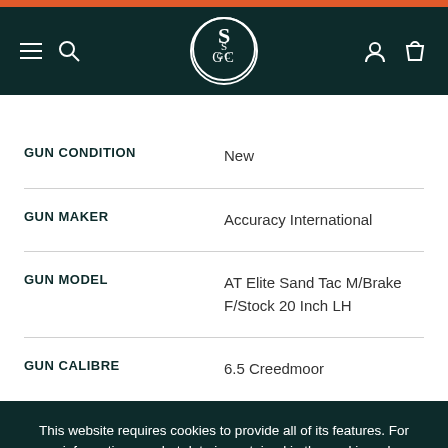[Figure (logo): SGC logo in circle with hamburger menu and search icon on left, user and bag icons on right, on dark teal navigation header]
| GUN CONDITION | New |
| GUN MAKER | Accuracy International |
| GUN MODEL | AT Elite Sand Tac M/Brake F/Stock 20 Inch LH |
| GUN CALIBRE | 6.5 Creedmoor |
This website requires cookies to provide all of its features. For more information on what data is contained in the cookies, please see our Privacy Policy page. To accept cookies from this site, please click the Allow button below.
ALLOW